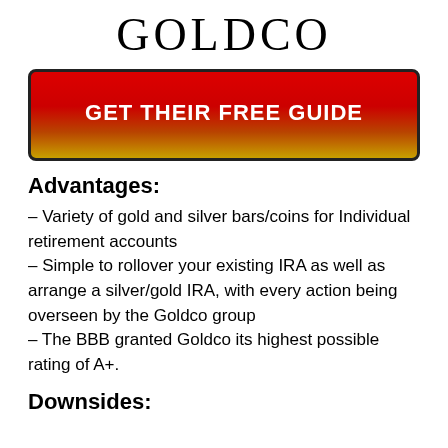GOLDCO
[Figure (other): Red to gold gradient button with text GET THEIR FREE GUIDE]
Advantages:
– Variety of gold and silver bars/coins for Individual retirement accounts
– Simple to rollover your existing IRA as well as arrange a silver/gold IRA, with every action being overseen by the Goldco group
– The BBB granted Goldco its highest possible rating of A+.
Downsides: